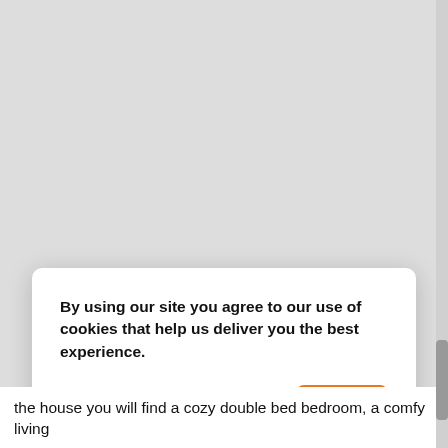By using our site you agree to our use of cookies that help us deliver you the best experience.
Disagree
Ok
the house you will find a cozy double bed bedroom, a comfy living